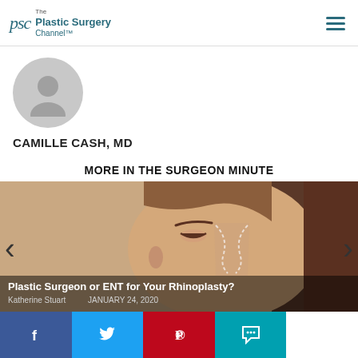PSC The Plastic Surgery Channel™
[Figure (illustration): Gray circular avatar/profile placeholder icon]
CAMILLE CASH, MD
MORE IN THE SURGEON MINUTE
[Figure (photo): Photo of woman's face profile with rhinoplasty nose graphics overlay, with caption: Plastic Surgeon or ENT for Your Rhinoplasty? by Katherine Stuart, JANUARY 24, 2020]
Plastic Surgeon or ENT for Your Rhinoplasty? Katherine Stuart JANUARY 24, 2020
[Figure (infographic): Social media share buttons: Facebook (blue), Twitter (light blue), Pinterest (red), Comment (teal), and a white/empty button]